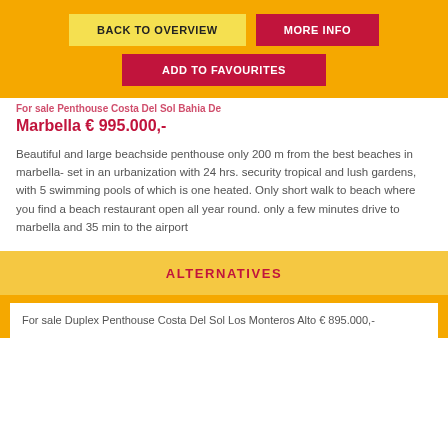BACK TO OVERVIEW | MORE INFO | ADD TO FAVOURITES
For sale Penthouse Costa Del Sol Bahia De Marbella € 995.000,-
Beautiful and large beachside penthouse only 200 m from the best beaches in marbella- set in an urbanization with 24 hrs. security tropical and lush gardens, with 5 swimming pools of which is one heated. Only short walk to beach where you find a beach restaurant open all year round. only a few minutes drive to marbella and 35 min to the airport
ALTERNATIVES
For sale Duplex Penthouse Costa Del Sol Los Monteros Alto € 895.000,-